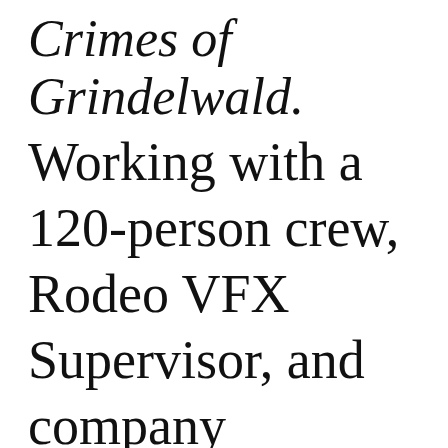Crimes of Grindelwald.
Working with a 120-person crew, Rodeo VFX Supervisor, and company President, Sebastien Moreau created two key scenes